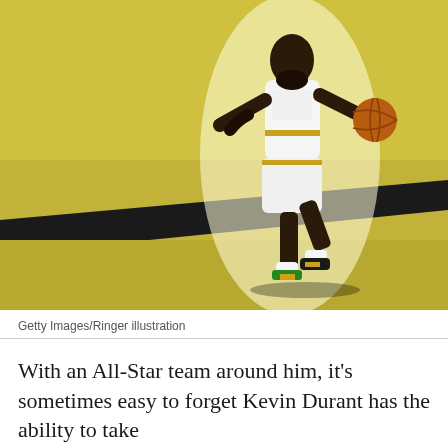[Figure (photo): A basketball player in a white Golden State Warriors uniform dribbling a basketball on a court. The player is mid-stride, running. The background is a golden/olive court color with a diagonal dark line. The player has a glowing white halo effect around them, stylized as a Ringer illustration.]
Getty Images/Ringer illustration
With an All-Star team around him, it's sometimes easy to forget Kevin Durant has the ability to take